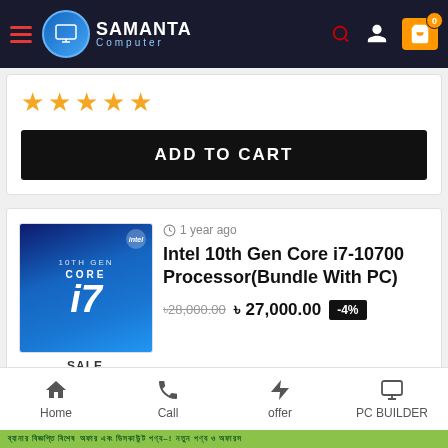[Figure (screenshot): Samanta Computer website header with logo, hamburger menu, search, user, and cart icons]
[Figure (illustration): Five orange star rating]
ADD TO CART
[Figure (photo): Intel 10th Gen Core i7 processor product box with SALE label]
1 year ago
Intel 10th Gen Core i7-10700 Processor(Bundle With PC)
৳28,000.00 ৳27,000.00 -4%
[Figure (screenshot): Bottom navigation bar with Home, Call, offer, PC BUILDER icons]
Scrolling ticker text in green bar